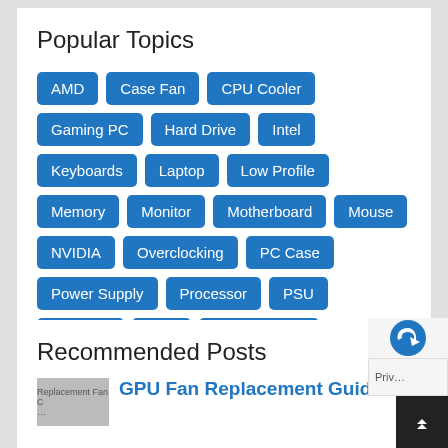Popular Topics
AMD
Case Fan
CPU Cooler
Gaming PC
Hard Drive
Intel
Keyboards
Laptop
Low Profile
Memory
Monitor
Motherboard
Mouse
NVIDIA
Overclocking
PC Case
Power Supply
Processor
PSU
Software
SSD
Virtual Reality
Workstation
Recommended Posts
GPU Fan Replacement Guide